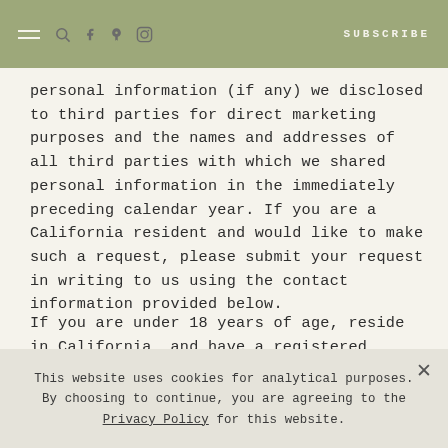≡  🔍  f  𝗽  ⊙   SUBSCRIBE
personal information (if any) we disclosed to third parties for direct marketing purposes and the names and addresses of all third parties with which we shared personal information in the immediately preceding calendar year. If you are a California resident and would like to make such a request, please submit your request in writing to us using the contact information provided below.
If you are under 18 years of age, reside in California, and have a registered account with the Website, you have the right to request removal of unwanted data that you
This website uses cookies for analytical purposes. By choosing to continue, you are agreeing to the Privacy Policy for this website.